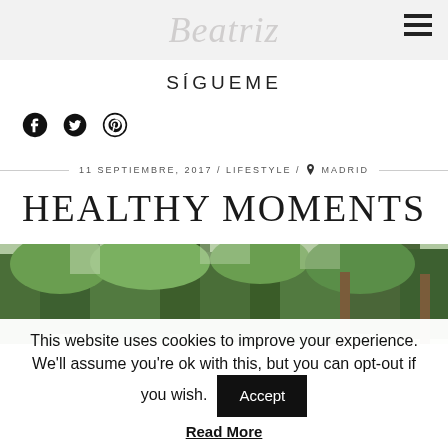Beatriz
SÍGUEME
[Figure (infographic): Social media icons: Facebook, Twitter, Pinterest]
11 SEPTIEMBRE, 2017 / LIFESTYLE / MADRID
HEALTHY MOMENTS
[Figure (photo): Outdoor photo showing trees and greenery, pine forest]
This website uses cookies to improve your experience. We'll assume you're ok with this, but you can opt-out if you wish.
Accept
Read More